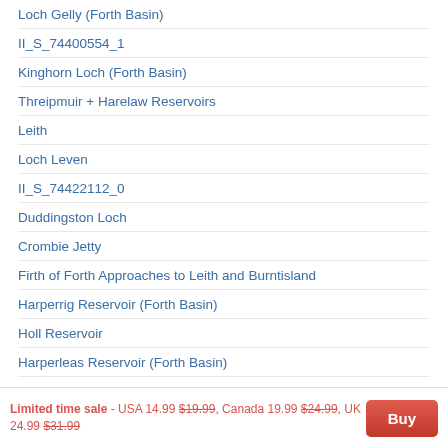Loch Gelly (Forth Basin)
II_S_74400554_1
Kinghorn Loch (Forth Basin)
Threipmuir + Harelaw Reservoirs
Leith
Loch Leven
II_S_74422112_0
Duddingston Loch
Crombie Jetty
Firth of Forth Approaches to Leith and Burntisland
Harperrig Reservoir (Forth Basin)
Holl Reservoir
Harperleas Reservoir (Forth Basin)
Limited time sale - USA 14.99 $19.99, Canada 19.99 $24.99, UK 24.99 $31.99  Buy